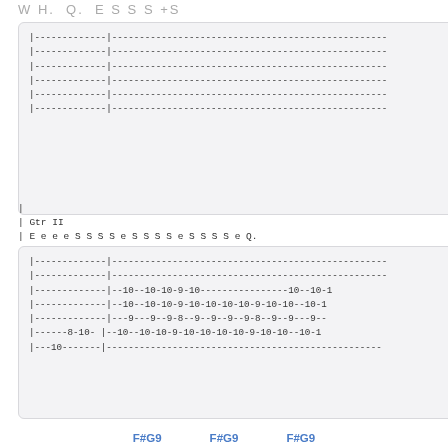W H. Q. E S S S +S
[Figure (other): Guitar tablature box 1 with 6 strings showing dashes and bar lines, all blank notation lines]
|
| Gtr II
| E e e e S S S S e S S S S e S S S S e Q.
[Figure (other): Guitar tablature box 2 with 6 strings showing notes: fret numbers 8, 9, 10 on various strings]
F#G9    F#G9    F#G9